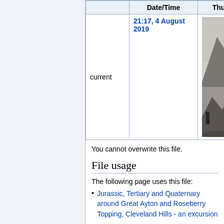|  | Date/Time | Thumb |
| --- | --- | --- |
| current | 21:17, 4 August 2019 | [image] |
You cannot overwrite this file.
File usage
The following page uses this file:
Jurassic, Tertiary and Quaternary around Great Ayton and Roseberry Topping, Cleveland Hills - an excursion
Categories:  License tags | Uploaded with UploadWizard